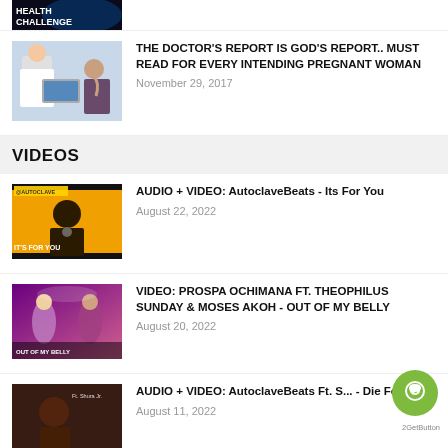[Figure (photo): Partial thumbnail of a health challenge image with dark blue background and white text reading HEALTH CHALLENGE]
[Figure (photo): Doctor and patient consultation, doctor in white coat with laptop]
THE DOCTOR'S REPORT IS GOD'S REPORT.. MUST READ FOR EVERY INTENDING PREGNANT WOMAN
November 29, 2017
VIDEOS
[Figure (photo): Video thumbnail: orange/yellow background with person singing, text IT'S FOR YOU with AutoclaveBeats branding]
AUDIO + VIDEO: AutoclaveBeats - Its For You
August 22, 2022
[Figure (photo): Video thumbnail: purple/pink concert scene with performers on stage, Out of My Belly text]
VIDEO: PROSPA OCHIMANA FT. THEOPHILUS SUNDAY & MOSES AKOH - OUT OF MY BELLY
August 20, 2022
[Figure (photo): Video thumbnail: dark background with male performer, Ft. Shura Jr. text]
AUDIO + VIDEO: AutoclaveBeats Ft. S... - Die For You
August 11, 2022